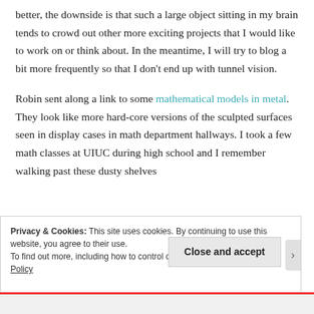better, the downside is that such a large object sitting in my brain tends to crowd out other more exciting projects that I would like to work on or think about. In the meantime, I will try to blog a bit more frequently so that I don't end up with tunnel vision.
Robin sent along a link to some mathematical models in metal. They look like more hard-core versions of the sculpted surfaces seen in display cases in math department hallways. I took a few math classes at UIUC during high school and I remember walking past these dusty shelves
Privacy & Cookies: This site uses cookies. By continuing to use this website, you agree to their use.
To find out more, including how to control cookies, see here: Cookie Policy
Close and accept